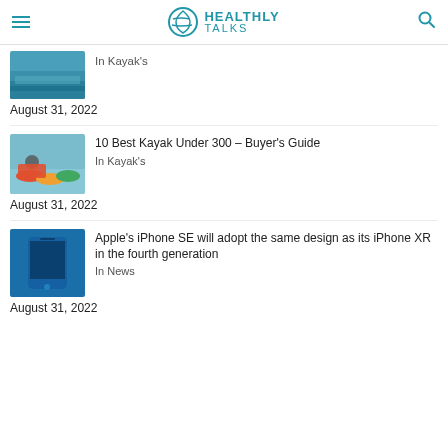HEALTHLY TALKS
[Figure (photo): Thumbnail photo of kayaking on water]
In Kayak's
August 31, 2022
[Figure (photo): Thumbnail photo of a group of people kayaking with colorful kayaks]
10 Best Kayak Under 300 – Buyer's Guide
In Kayak's
August 31, 2022
[Figure (photo): Thumbnail close-up photo of a blue iPhone]
Apple's iPhone SE will adopt the same design as its iPhone XR in the fourth generation
In News
August 31, 2022